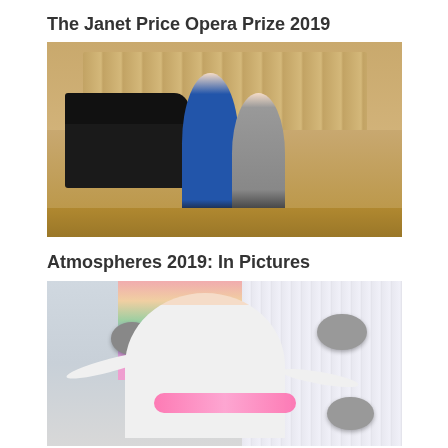The Janet Price Opera Prize 2019
[Figure (photo): Two women standing together on a concert stage with a grand piano in the background. One woman wears a blue gown, the other wears a grey suit. The stage has warm wooden panels on the walls.]
Atmospheres 2019: In Pictures
[Figure (photo): A woman in a white outfit stands with arms outstretched in an art installation featuring hanging colorful decorations, speaker orbs, and various artistic elements in the background.]